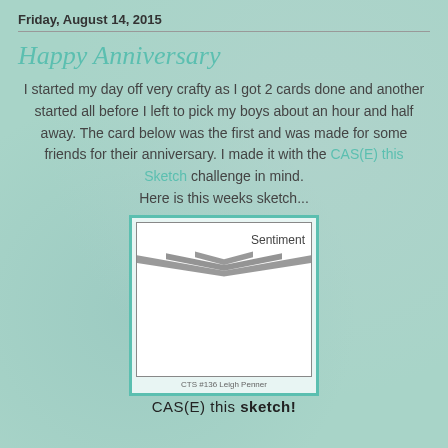Friday, August 14, 2015
Happy Anniversary
I started my day off very crafty as I got 2 cards done and another started all before I left to pick my boys about an hour and half away. The card below was the first and was made for some friends for their anniversary. I made it with the CAS(E) this Sketch challenge in mind.
Here is this weeks sketch...
[Figure (illustration): Sketch template card layout showing a card with 'Sentiment' label and a zigzag/chevron wave pattern across the middle. Below the card sketch is text 'CTS #136 Leigh Penner' and 'CAS(E) this sketch!' branding. Outer border is teal/turquoise.]